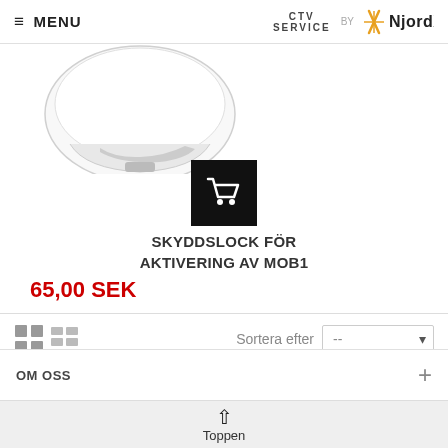≡ MENU | CTV SERVICE by NjordX
[Figure (photo): White helmet/protective equipment product photo (partial, cropped at top)]
[Figure (other): Black shopping cart icon button]
SKYDDSLOCK FÖR AKTIVERING AV MOB1
65,00 SEK
[Figure (other): Grid and list view toggle icons, and a sort dropdown labeled 'Sortera efter' with '--' selected]
OM OSS
Toppen